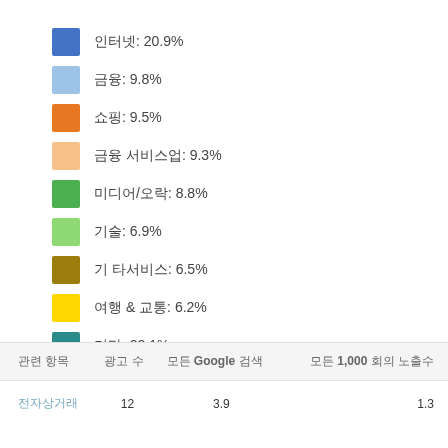[Figure (other): Legend with colored swatches and percentage labels in Korean: 인터넷: 20.9%, 금융: 9.8%, 쇼핑: 9.5%, 금융 서비스업: 9.3%, 미디어/오락: 8.8%, 기술: 6.9%, 기 타서비스: 6.5%, 여행 & 교통: 6.2%, 기타: 22.1%]
| 관련 항목 | 광고 수 | 모든 Google 검색 | 모든 1,000 회의 노출수 |
| --- | --- | --- | --- |
| 전자상거래 | 12 | 3.9 | 1.3 |